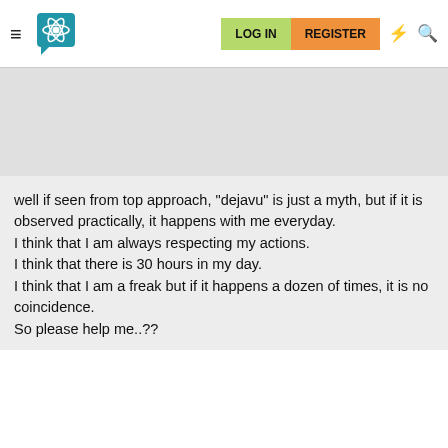LOG IN  REGISTER
[Figure (screenshot): Grey banner/advertisement placeholder area]
well if seen from top approach, "dejavu" is just a myth, but if it is observed practically, it happens with me everyday.
I think that I am always respecting my actions.
I think that there is 30 hours in my day.
I think that I am a freak but if it happens a dozen of times, it is no coincidence.
So please help me..??